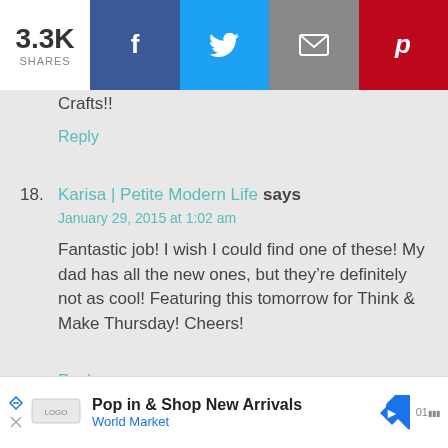3.3K SHARES | Facebook | Twitter | Email | Pinterest
Crafts!!
Reply
18. Karisa | Petite Modern Life says
January 29, 2015 at 1:02 am
Fantastic job! I wish I could find one of these! My dad has all the new ones, but they're definitely not as cool! Featuring this tomorrow for Think & Make Thursday! Cheers!
Reply
19. Erlene says
January 30, 2015 at 2:46 am
[Figure (screenshot): Bottom advertisement bar: Pop in & Shop New Arrivals at World Market, with navigation arrow icon and brand logo]